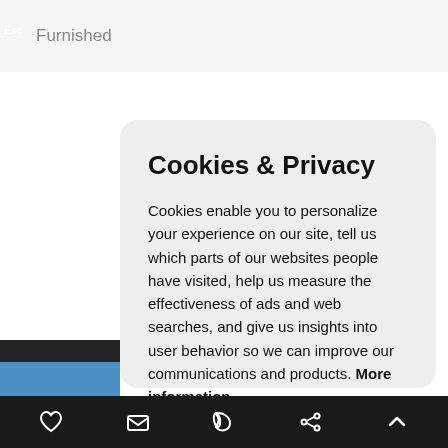Furnished
Cookies & Privacy
Cookies enable you to personalize your experience on our site, tell us which parts of our websites people have visited, help us measure the effectiveness of ads and web searches, and give us insights into user behavior so we can improve our communications and products. More information
Accept Cookies
Customise Cookies